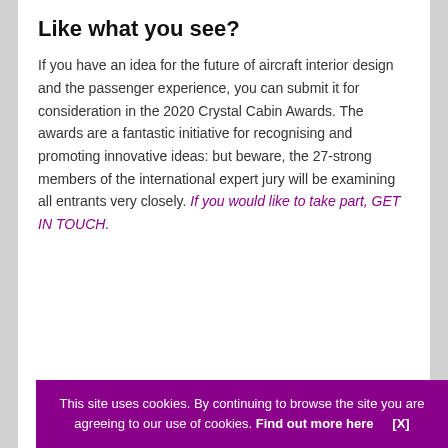Like what you see?
If you have an idea for the future of aircraft interior design and the passenger experience, you can submit it for consideration in the 2020 Crystal Cabin Awards. The awards are a fantastic initiative for recognising and promoting innovative ideas: but beware, the 27-strong members of the international expert jury will be examining all entrants very closely. If you would like to take part, GET IN TOUCH.
This site uses cookies. By continuing to browse the site you are agreeing to our use of cookies. Find out more here   [X]